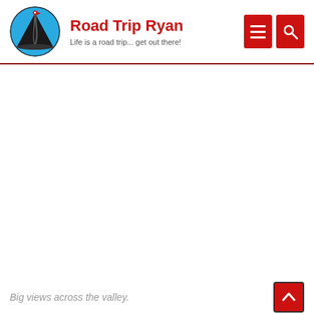Road Trip Ryan — Life is a road trip... get out there!
[Figure (photo): Large landscape photo of valley view, mostly white/blank in this render]
Big views across the valley.